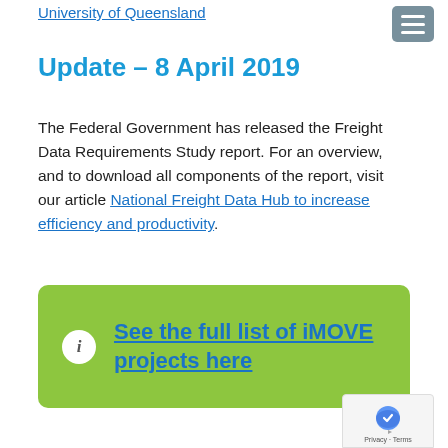University of Queensland
Update – 8 April 2019
The Federal Government has released the Freight Data Requirements Study report. For an overview, and to download all components of the report, visit our article National Freight Data Hub to increase efficiency and productivity.
See the full list of iMOVE projects here